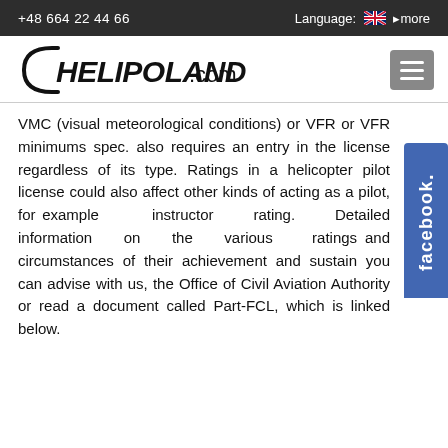+48 664 22 44 66   Language: [UK flag] more
[Figure (logo): HELIPOLAND.com logo with italic H and stylized text, plus hamburger menu icon]
VMC (visual meteorological conditions) or VFR or VFR minimums spec. also requires an entry in the license regardless of its type. Ratings in a helicopter pilot license could also affect other kinds of acting as a pilot, for example instructor rating. Detailed information on the various ratings and circumstances of their achievement and sustain you can advise with us, the Office of Civil Aviation Authority or read a document called Part-FCL, which is linked below.